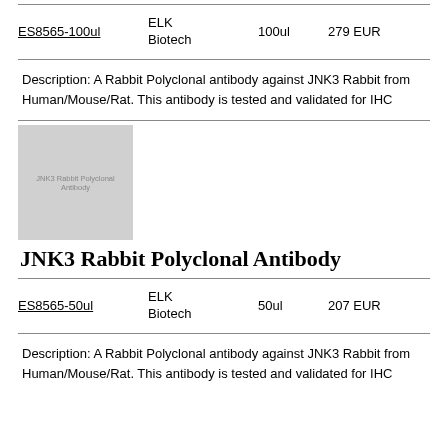| ID | Vendor | Size | Price |
| --- | --- | --- | --- |
| ES8565-100ul | ELK Biotech | 100ul | 279 EUR |
Description: A Rabbit Polyclonal antibody against JNK3 Rabbit from Human/Mouse/Rat. This antibody is tested and validated for IHC
[Figure (photo): Greyscale placeholder image with text 'JNK3 Rabbit Polyclonal Antibody']
JNK3 Rabbit Polyclonal Antibody
| ID | Vendor | Size | Price |
| --- | --- | --- | --- |
| ES8565-50ul | ELK Biotech | 50ul | 207 EUR |
Description: A Rabbit Polyclonal antibody against JNK3 Rabbit from Human/Mouse/Rat. This antibody is tested and validated for IHC